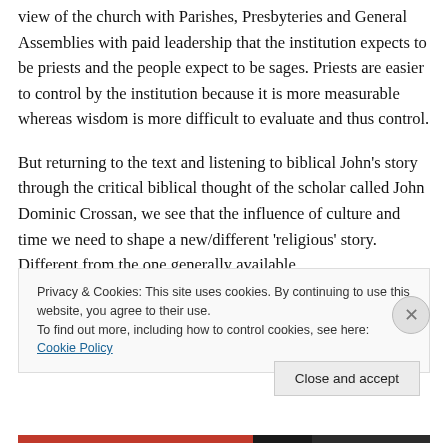view of the church with Parishes, Presbyteries and General Assemblies with paid leadership that the institution expects to be priests and the people expect to be sages. Priests are easier to control by the institution because it is more measurable whereas wisdom is more difficult to evaluate and thus control.
But returning to the text and listening to biblical John's story through the critical biblical thought of the scholar called John Dominic Crossan, we see that the influence of culture and time we need to shape a new/different 'religious' story. Different from the one generally available
Privacy & Cookies: This site uses cookies. By continuing to use this website, you agree to their use.
To find out more, including how to control cookies, see here: Cookie Policy
Close and accept